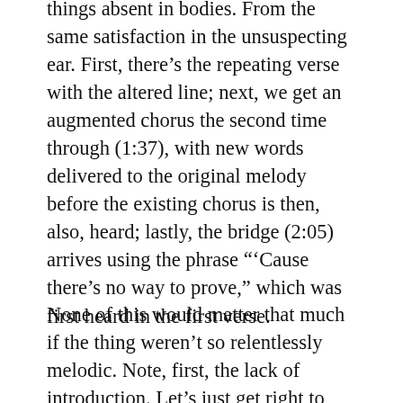things absent in bodies. From the same satisfaction in the unsuspecting ear. First, there's the repeating verse with the altered line; next, we get an augmented chorus the second time through (1:37), with new words delivered to the original melody before the existing chorus is then, also, heard; lastly, the bridge (2:05) arrives using the phrase "'Cause there's no way to prove," which was first heard in the first verse.
None of this would matter that much if the thing weren't so relentlessly melodic. Note, first, the lack of introduction. Let's just get right to business. Note, second, the 16-measure melody in the verse. Not a common thing in general, and especially not in this kind